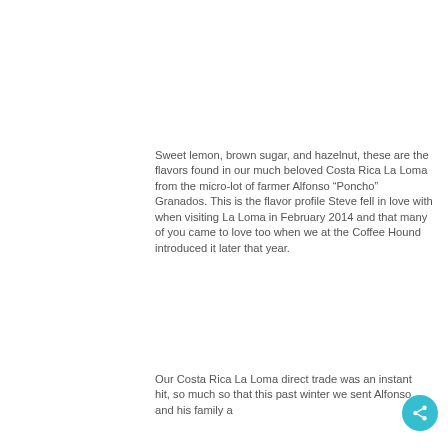Sweet lemon, brown sugar, and hazelnut, these are the flavors found in our much beloved Costa Rica La Loma from the micro-lot of farmer Alfonso “Poncho” Granados. This is the flavor profile Steve fell in love with when visiting La Loma in February 2014 and that many of you came to love too when we at the Coffee Hound introduced it later that year.
Our Costa Rica La Loma direct trade was an instant hit, so much so that this past winter we sent Alfonso and his family a